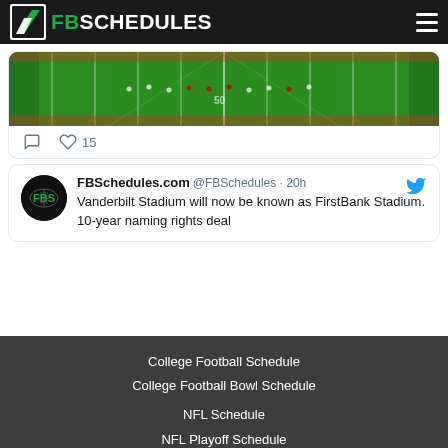FBSCHEDULES
[Figure (screenshot): Partial tweet card showing an aerial view of a football field (green turf with yard lines and players visible), with reply and like icons below (15 likes)]
FBSchedules.com @FBSchedules · 20h
Vanderbilt Stadium will now be known as FirstBank Stadium. 10-year naming rights deal
College Football Schedule
College Football Bowl Schedule
NFL Schedule
NFL Playoff Schedule